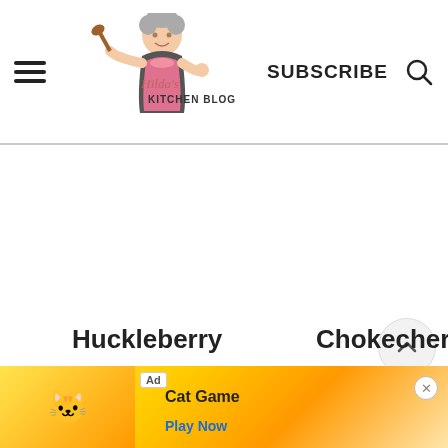Hilda's Kitchen Blog — SUBSCRIBE
[Figure (logo): Hilda's Kitchen Blog logo with cartoon woman in apron holding a wooden spoon]
144
Huckleberry
Chokecherry
Sau...resh...
[Figure (screenshot): Ad banner: Cat Game advertisement with Play Now button]